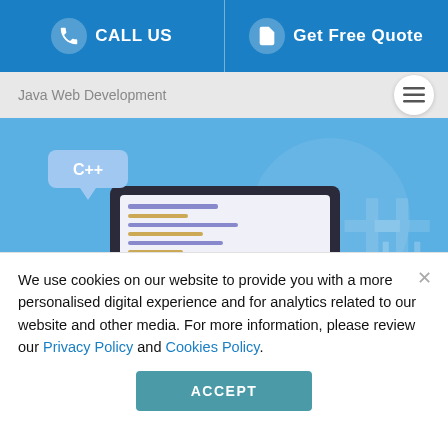CALL US | Get Free Quote
Java Web Development
[Figure (illustration): Blue banner image showing a laptop/monitor with code editor displaying C++ and HTML/code snippets, with C++ speech bubble and </> code tag badge]
We use cookies on our website to provide you with a more personalised digital experience and for analytics related to our website and other media. For more information, please review our Privacy Policy and Cookies Policy.
ACCEPT